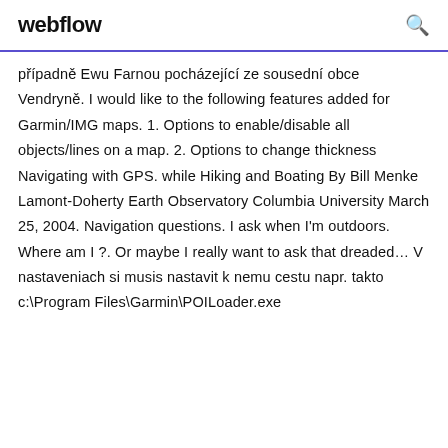webflow
případně Ewu Farnou pocházející ze sousední obce Vendryně. I would like to the following features added for Garmin/IMG maps. 1. Options to enable/disable all objects/lines on a map. 2. Options to change thickness Navigating with GPS. while Hiking and Boating By Bill Menke Lamont-Doherty Earth Observatory Columbia University March 25, 2004. Navigation questions. I ask when I'm outdoors. Where am I ?. Or maybe I really want to ask that dreaded… V nastaveniach si musis nastavit k nemu cestu napr. takto c:\Program Files\Garmin\POILoader.exe